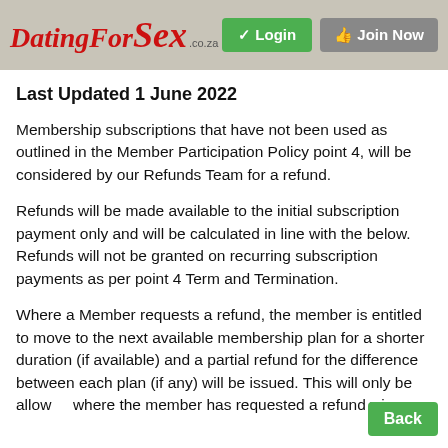DatingForSex.com — Login | Join Now
Last Updated 1 June 2022
Membership subscriptions that have not been used as outlined in the Member Participation Policy point 4, will be considered by our Refunds Team for a refund.
Refunds will be made available to the initial subscription payment only and will be calculated in line with the below. Refunds will not be granted on recurring subscription payments as per point 4 Term and Termination.
Where a Member requests a refund, the member is entitled to move to the next available membership plan for a shorter duration (if available) and a partial refund for the difference between each plan (if any) will be issued. This will only be allowed where the member has requested a refund within